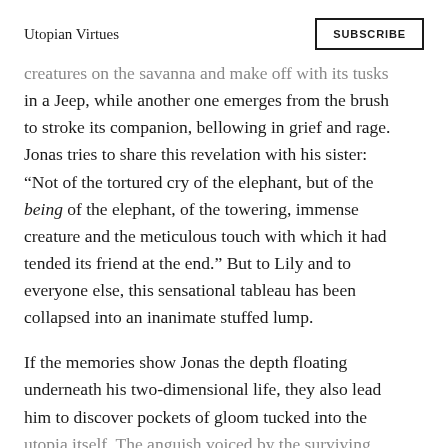Utopian Virtues | SUBSCRIBE
creatures on the savanna and make off with its tusks in a Jeep, while another one emerges from the brush to stroke its companion, bellowing in grief and rage. Jonas tries to share this revelation with his sister: “Not of the tortured cry of the elephant, but of the being of the elephant, of the towering, immense creature and the meticulous touch with which it had tended its friend at the end.” But to Lily and to everyone else, this sensational tableau has been collapsed into an inanimate stuffed lump.
If the memories show Jonas the depth floating underneath his two-dimensional life, they also lead him to discover pockets of gloom tucked into the utopia itself. The anguish voiced by the surviving